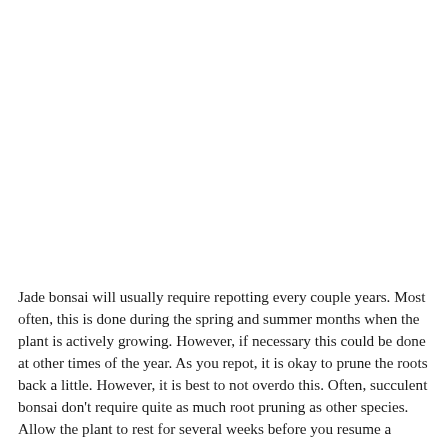Jade bonsai will usually require repotting every couple years. Most often, this is done during the spring and summer months when the plant is actively growing. However, if necessary this could be done at other times of the year. As you repot, it is okay to prune the roots back a little. However, it is best to not overdo this. Often, succulent bonsai don't require quite as much root pruning as other species. Allow the plant to rest for several weeks before you resume a normal watering schedule.